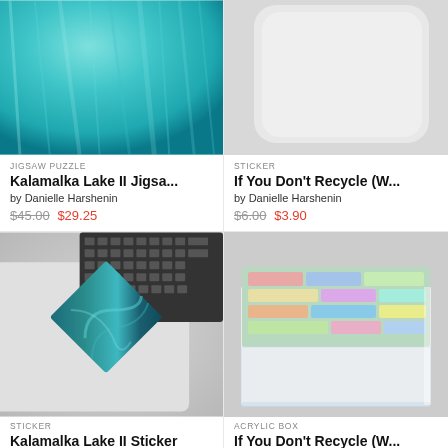[Figure (photo): Teal/turquoise fuzzy textile texture close-up]
JIGSAW PUZZLE
Kalamalka Lake II Jigsa...
by Danielle Harshenin
$45.00  $29.25
[Figure (photo): White rounded square sticker on light gray background]
STICKER
If You Don't Recycle (W...
by Danielle Harshenin
$6.00  $3.90
[Figure (photo): Laptop with dark teal marble art sticker on trackpad area, keyboard visible]
STICKER
Kalamalka Lake II Sticker
[Figure (photo): Clear acrylic box with colorful text design on top surface]
ACRYLIC BOX
If You Don't Recycle (W...